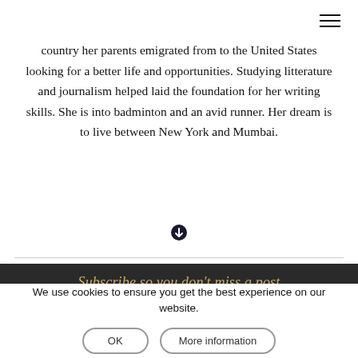[Figure (other): Hamburger menu icon (three horizontal lines) in top right corner]
country her parents emigrated from to the United States looking for a better life and opportunities. Studying litterature and journalism helped laid the foundation for her writing skills. She is into badminton and an avid runner. Her dream is to live between New York and Mumbai.
[Figure (illustration): Small circular icon with a downward-pointing arrow or heart symbol, used as a section divider]
Subscribe so you don't miss a post
Sign up with your email address to receive news and monthly(!)
We use cookies to ensure you get the best experience on our website.
OK
More information
First name